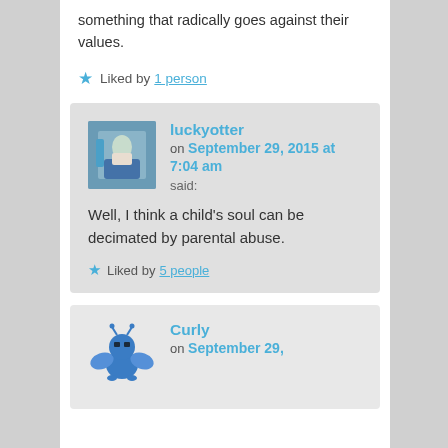something that radically goes against their values.
Liked by 1 person
luckyotter on September 29, 2015 at 7:04 am said:
Well, I think a child's soul can be decimated by parental abuse.
Liked by 5 people
Curly on September 29,